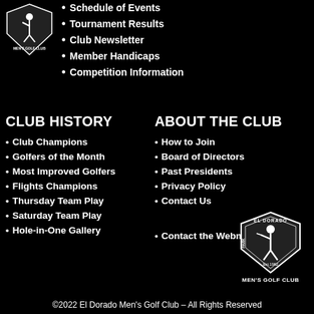[Figure (logo): El Dorado Men's Golf Club shield logo top left]
Schedule of Events
Tournament Results
Club Newsletter
Member Handicaps
Competition Information
CLUB HISTORY
ABOUT THE CLUB
Club Champions
Golfers of the Month
Most Improved Golfers
Flights Champions
Thursday Team Play
Saturday Team Play
Hole-in-One Gallery
How to Join
Board of Directors
Past Presidents
Privacy Policy
Contact Us
Contact the Webmaster
[Figure (logo): El Dorado Park Men's Golf Club shield logo bottom right, Est. 1962]
©2022 El Dorado Men's Golf Club – All Rights Reserved